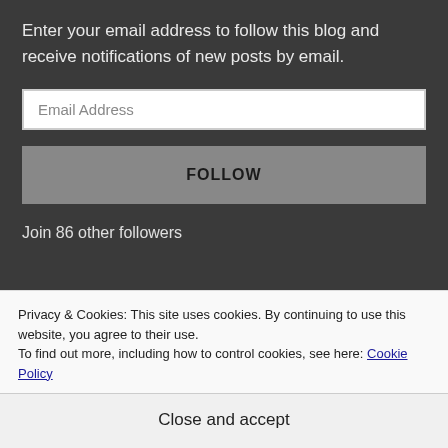Enter your email address to follow this blog and receive notifications of new posts by email.
Email Address
FOLLOW
Join 86 other followers
Privacy & Cookies: This site uses cookies. By continuing to use this website, you agree to their use.
To find out more, including how to control cookies, see here: Cookie Policy
Close and accept